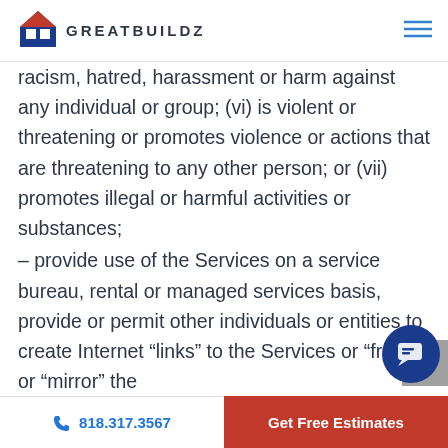GREATBUILDZ
racism, hatred, harassment or harm against any individual or group; (vi) is violent or threatening or promotes violence or actions that are threatening to any other person; or (vii) promotes illegal or harmful activities or substances;
– provide use of the Services on a service bureau, rental or managed services basis, provide or permit other individuals or entities to create Internet “links” to the Services or “frame” or “mirror” the
818.317.3567 | Get Free Estimates